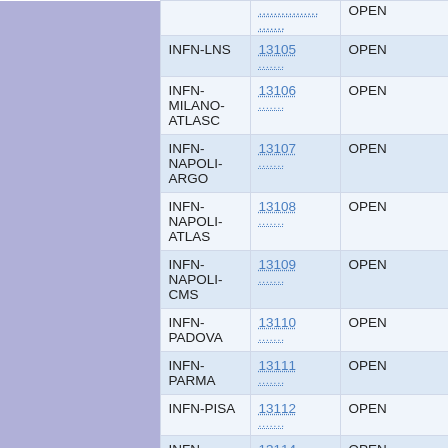|  | Name | ID | Status |  |
| --- | --- | --- | --- | --- |
|  |  | ............
....... | OPEN |  |
|  | INFN-LNS | 13105
....... | OPEN |  |
|  | INFN-MILANO-ATLASC | 13106
....... | OPEN |  |
|  | INFN-NAPOLI-ARGO | 13107
....... | OPEN |  |
|  | INFN-NAPOLI-ATLAS | 13108
....... | OPEN |  |
|  | INFN-NAPOLI-CMS | 13109
....... | OPEN |  |
|  | INFN-PADOVA | 13110
....... | OPEN |  |
|  | INFN-PARMA | 13111
....... | OPEN |  |
|  | INFN-PISA | 13112
....... | OPEN |  |
|  | INFN-ROMA1-CMS | 13114
....... | OPEN |  |
|  | INFN-ROMA1-VIRGO | 13115
....... | OPEN |  |